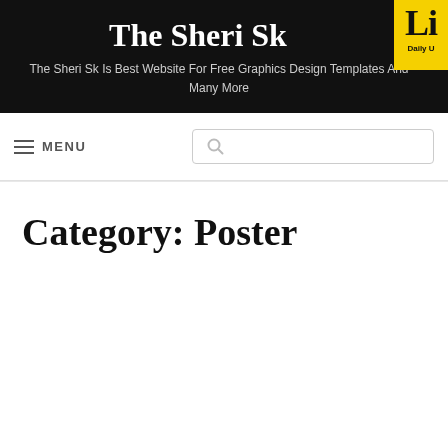The Sheri Sk
The Sheri Sk Is Best Website For Free Graphics Design Templates And Many More
[Figure (logo): Yellow badge with bold letters 'Li' and text 'Daily U' below]
≡ MENU
Category: Poster